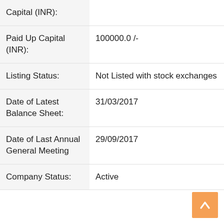| Field | Value |
| --- | --- |
| Capital (INR): |  |
| Paid Up Capital (INR): | 100000.0 /- |
| Listing Status: | Not Listed with stock exchanges |
| Date of Latest Balance Sheet: | 31/03/2017 |
| Date of Last Annual General Meeting | 29/09/2017 |
| Company Status: | Active |